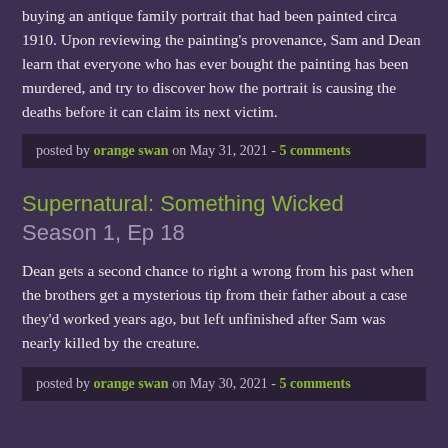buying an antique family portrait that had been painted circa 1910. Upon reviewing the painting's provenance, Sam and Dean learn that everyone who has ever bought the painting has been murdered, and try to discover how the portrait is causing the deaths before it can claim its next victim.
posted by orange swan on May 31, 2021 - 5 comments
Supernatural: Something Wicked Season 1, Ep 18
Dean gets a second chance to right a wrong from his past when the brothers get a mysterious tip from their father about a case they'd worked years ago, but left unfinished after Sam was nearly killed by the creature.
posted by orange swan on May 30, 2021 - 5 comments